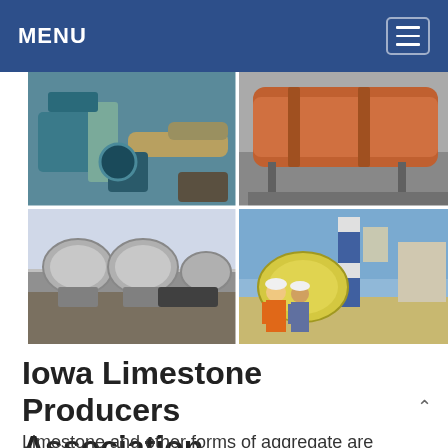MENU
[Figure (photo): Four-panel photo grid showing industrial limestone/aggregate equipment: top-left shows close-up of machinery with teal/green components and pipes; top-right shows a large orange rotary kiln or drum in a warehouse; bottom-left shows a row of ball mills on open ground; bottom-right shows two workers in orange safety vests standing in front of industrial processing equipment with a blue and white striped tower.]
Iowa Limestone Producers Association
Limestone and other forms of aggregate are something